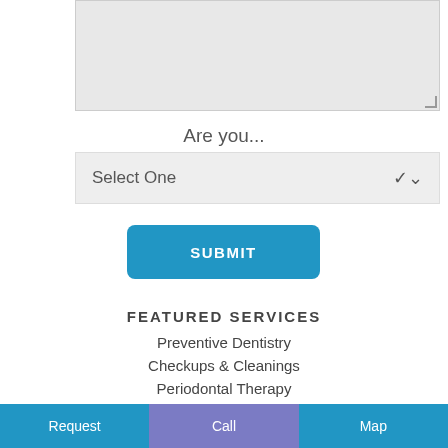[Figure (screenshot): A grey textarea input box with a resize handle in the bottom-right corner]
Are you...
[Figure (screenshot): A dropdown select input showing 'Select One' with a chevron arrow on the right]
[Figure (screenshot): A blue rounded Submit button with white bold text 'SUBMIT']
FEATURED SERVICES
Preventive Dentistry
Checkups & Cleanings
Periodontal Therapy
Request   Call   Map